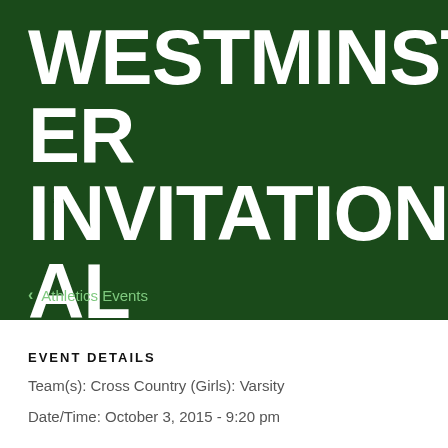WESTMINSTER INVITATIONAL
< Athletics Events
EVENT DETAILS
Team(s): Cross Country (Girls): Varsity
Date/Time: October 3, 2015 - 9:20 pm